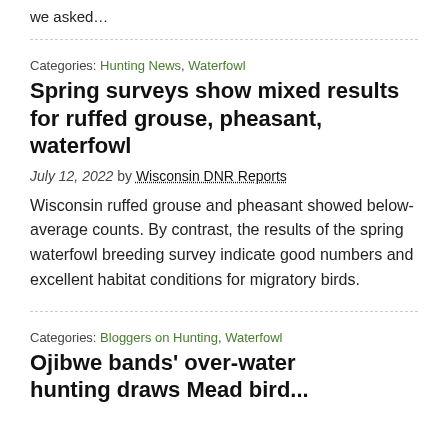we asked…
Categories: Hunting News, Waterfowl
Spring surveys show mixed results for ruffed grouse, pheasant, waterfowl
July 12, 2022 by Wisconsin DNR Reports
Wisconsin ruffed grouse and pheasant showed below-average counts. By contrast, the results of the spring waterfowl breeding survey indicate good numbers and excellent habitat conditions for migratory birds.
Categories: Bloggers on Hunting, Waterfowl
Ojibwe bands' over-water hunting draws Mead bird...